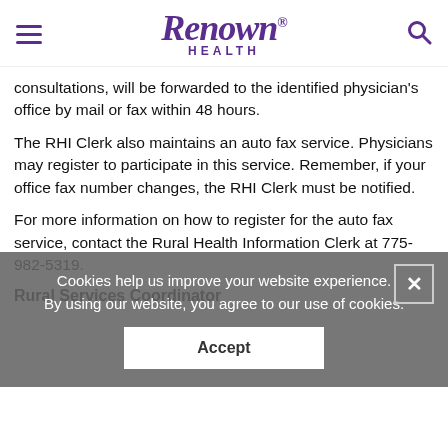Renown Health
consultations, will be forwarded to the identified physician's office by mail or fax within 48 hours.
The RHI Clerk also maintains an auto fax service. Physicians may register to participate in this service. Remember, if your office fax number changes, the RHI Clerk must be notified.
For more information on how to register for the auto fax service, contact the Rural Health Information Clerk at 775-982-5319.
Cookies help us improve your website experience. By using our website, you agree to our use of cookies.
Rural Services Coordinator